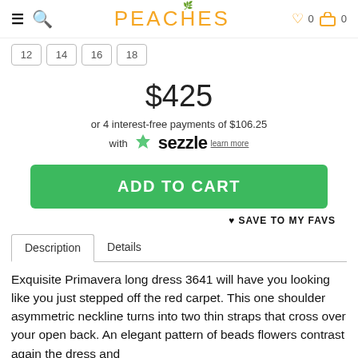PEACHES — navigation header with hamburger, search, logo, wishlist (0), cart (0)
Size options: 12, 14, 16, 18
$425
or 4 interest-free payments of $106.25
with Sezzle learn more
ADD TO CART
♥ SAVE TO MY FAVS
Description | Details
Exquisite Primavera long dress 3641 will have you looking like you just stepped off the red carpet. This one shoulder asymmetric neckline turns into two thin straps that cross over your open back. An elegant pattern of beads flowers contrast again the dress and